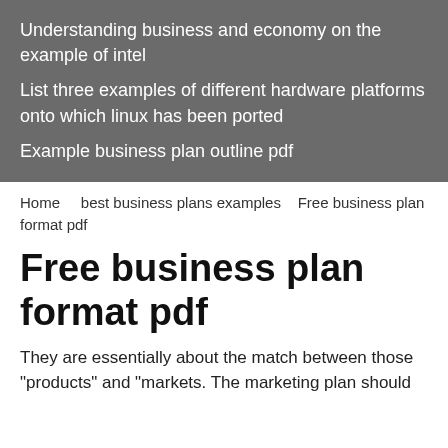Understanding business and economy on the example of intel
List three examples of different hardware platforms onto which linux has been ported
Example business plan outline pdf
Home   best business plans examples   Free business plan format pdf
Free business plan format pdf
They are essentially about the match between those "products" and "markets. The marketing plan should